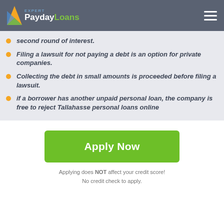PaydayLoans Expert
second round of interest.
Filing a lawsuit for not paying a debt is an option for private companies.
Collecting the debt in small amounts is proceeded before filing a lawsuit.
if a borrower has another unpaid personal loan, the company is free to reject Tallahasse personal loans online
Apply Now
Applying does NOT affect your credit score! No credit check to apply.